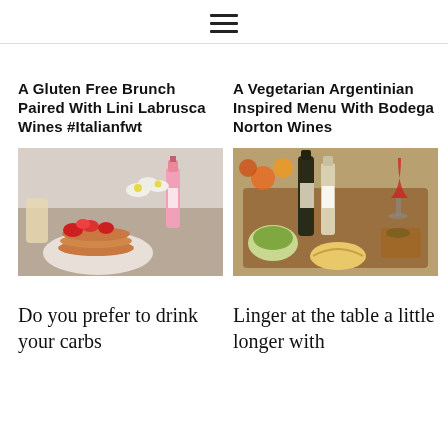☰ (hamburger menu icon)
A Gluten Free Brunch Paired With Lini Labrusca Wines #Italianfwt
[Figure (photo): Pancakes topped with fresh strawberries on a plate, with deviled eggs and a pink wine bottle in the background]
Do you prefer to drink your carbs
A Vegetarian Argentinian Inspired Menu With Bodega Norton Wines
[Figure (photo): Argentine food spread with empanadas, salads, grilled vegetables, wine bottles and a glass of red wine on a wooden board]
Linger at the table a little longer with